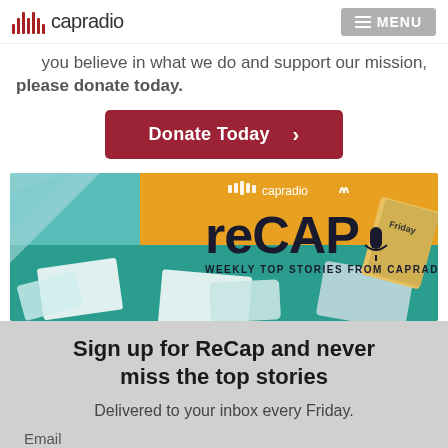capradio  MENU
you believe in what we do and support our mission, please donate today.
Donate Today >
[Figure (illustration): CapRadio reCAP banner — colorful illustration with teal and orange background, computers, phones, notebooks; text reads 'capradio reCAP WEEKLY TOP STORIES FROM CAPRADIO']
Sign up for ReCap and never miss the top stories
Delivered to your inbox every Friday.
Email